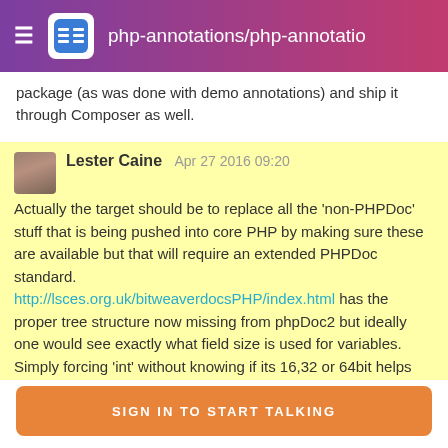php-annotations/php-annotatio
package (as was done with demo annotations) and ship it through Composer as well.
Lester Caine   Apr 27 2016 09:20
Actually the target should be to replace all the 'non-PHPDoc' stuff that is being pushed into core PHP by making sure these are available but that will require an extended PHPDoc standard. http://lsces.org.uk/bitweaverdocsPHP/index.html has the proper tree structure now missing from phpDoc2 but ideally one would see exactly what field size is used for variables. Simply forcing 'int' without knowing if its 16,32 or 64bit helps no-one, and being able to extednd

extend that to cover case like age range helps a lot more
SIGN IN TO START TALKING